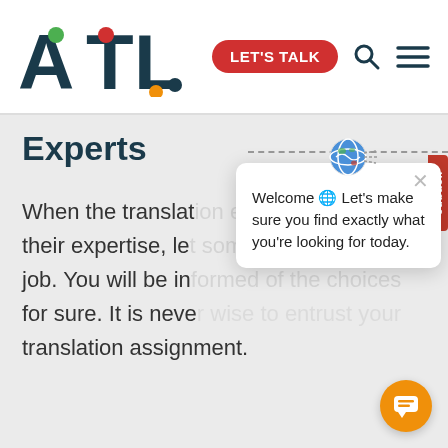[Figure (logo): ATL logo with colored dots and nav bar with LET'S TALK button, search and menu icons]
Experts
When the translat[ion is within] their expertise, le[t them do the] job. You will be in[ good hands] for sure. It is neve[r wise to] translation assignment.
[Figure (screenshot): Chat popup widget with globe emoji, close button, and text: Welcome Let's make sure you find exactly what you're looking for today. Orange chat bubble button in bottom right.]